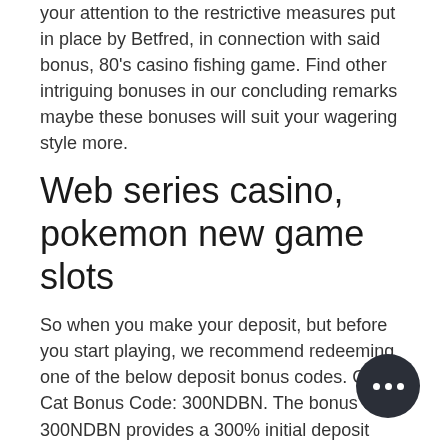your attention to the restrictive measures put in place by Betfred, in connection with said bonus, 80's casino fishing game. Find other intriguing bonuses in our concluding remarks maybe these bonuses will suit your wagering style more.
Web series casino, pokemon new game slots
So when you make your deposit, but before you start playing, we recommend redeeming one of the below deposit bonus codes. Cool Cat Bonus Code: 300NDBN. The bonus code 300NDBN provides a 300% initial deposit bonus with no upper limit on the bonus amount, no wagering requirements, and no maximum payouts. However, you may ONLY play slots games and keno when electing this bonus, slots empire casino codes. There is a minimum $30 depos... qualify for this promotion. Bovada Casi... Deposit Bonus Codes April 20, 2021: Slots